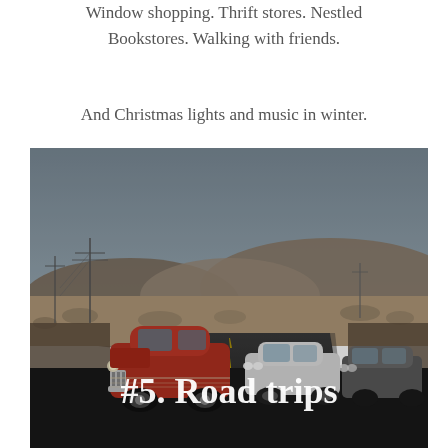Window shopping. Thrift stores. Nestled Bookstores. Walking with friends.
And Christmas lights and music in winter.
[Figure (photo): A road with cars traveling on a highway through arid landscape with hills in the background. A vintage red car leads, with modern white vehicles behind. Text overlay reads '#5. Road trips' in white bold serif font.]